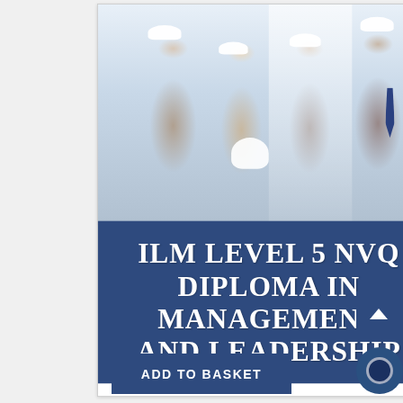[Figure (photo): Four professionals in business attire, three wearing white hard hats, one woman holding a hard hat, standing together smiling in a bright indoor space]
ILM LEVEL 5 NVQ DIPLOMA IN MANAGEMENT AND LEADERSHIP
ADD TO BASKET